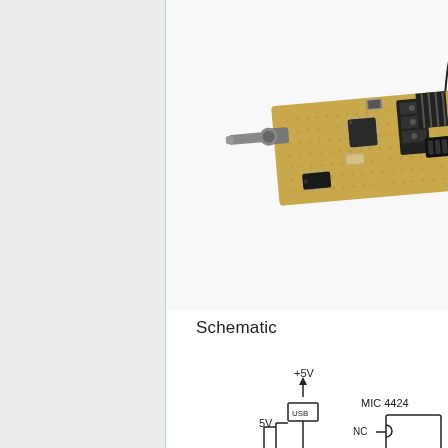[Figure (photo): Photo of a hand-built electronic circuit board (perfboard/stripboard) with components including a potentiometer, microcontroller chip, crystal oscillator, connectors, and other components mounted on a tan/yellow perforated board, photographed against a white background.]
Schematic
[Figure (schematic): Partial hand-drawn electronic schematic showing a +5V power supply rail connected via an arrow to a USB connector block, with a 5V label on the left side, and a partial view of a MIC 4424 component on the right side with an NC pin labeled. The schematic is partially cut off at the bottom of the page.]